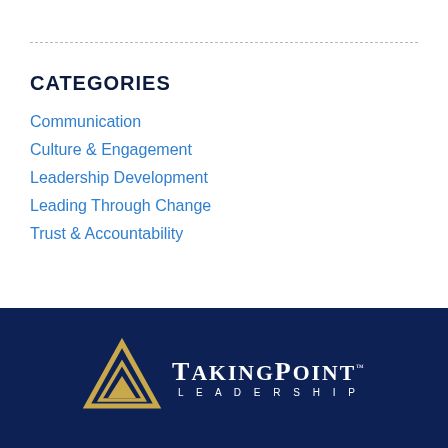CATEGORIES
Communication
Culture & Engagement
Leadership Development
Leading Through Change
Trust & Accountability
[Figure (logo): TakingPoint Leadership logo with gold triangle symbol and white text on dark navy background]